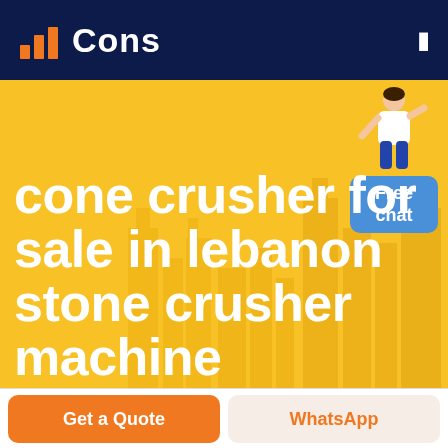Cons
[Figure (illustration): Website hero banner with yellow/orange background, city skyline silhouette, person figure in top right corner, and a blue 'Free chat' button widget. Large white bold text reads: cone crusher for sale in lebanon stone crusher machine]
cone crusher for sale in lebanon stone crusher machine
Get a Quote
WhatsApp